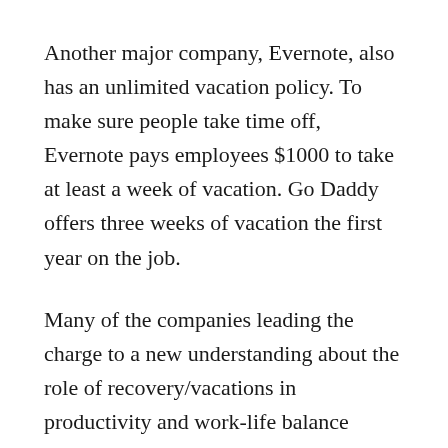Another major company, Evernote, also has an unlimited vacation policy. To make sure people take time off, Evernote pays employees $1000 to take at least a week of vacation. Go Daddy offers three weeks of vacation the first year on the job.
Many of the companies leading the charge to a new understanding about the role of recovery/vacations in productivity and work-life balance policies are technology companies. They are embracing a belief that in the knowledge economy, it’s not how maxed-out your gray matter is that leads to productive results, it’s how fresh your brain is. A focused, energized brain gets the most work done the fastest.